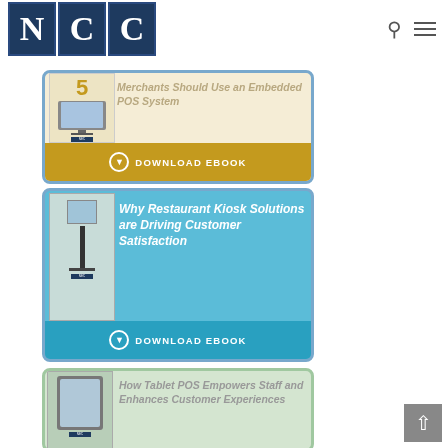[Figure (logo): NCC logo with three dark blue square tiles each containing a white serif letter N, C, C]
[Figure (illustration): Promotional card with tan/gold background. Title: '5 Reasons Merchants Should Use an Embedded POS System'. Gold download ebook button at bottom. Book cover image on left showing a POS terminal device.]
[Figure (illustration): Promotional card with light blue background. Title: 'Why Restaurant Kiosk Solutions are Driving Customer Satisfaction'. Darker blue download ebook button at bottom. Book cover image on left showing a kiosk stand.]
[Figure (illustration): Promotional card with light green background. Title: 'How Tablet POS Empowers Staff and Enhances Customer Experiences'. Book cover image on left showing a tablet device.]